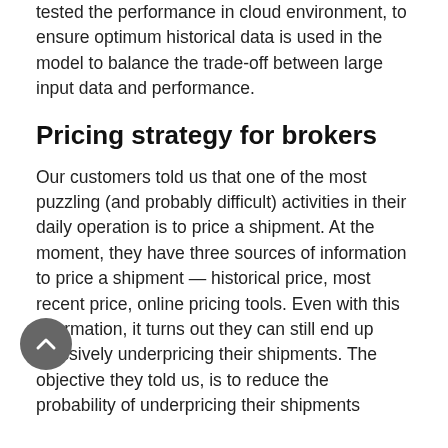tested the performance in cloud environment, to ensure optimum historical data is used in the model to balance the trade-off between large input data and performance.
Pricing strategy for brokers
Our customers told us that one of the most puzzling (and probably difficult) activities in their daily operation is to price a shipment. At the moment, they have three sources of information to price a shipment — historical price, most recent price, online pricing tools. Even with this information, it turns out they can still end up massively underpricing their shipments. The objective they told us, is to reduce the probability of underpricing their shipments